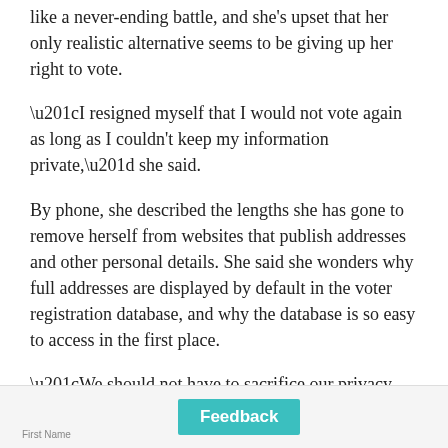like a never-ending battle, and she's upset that her only realistic alternative seems to be giving up her right to vote.
“I resigned myself that I would not vote again as long as I couldn't keep my information private,” she said.
By phone, she described the lengths she has gone to remove herself from websites that publish addresses and other personal details. She said she wonders why full addresses are displayed by default in the voter registration database, and why the database is so easy to access in the first place.
“We should not have to sacrifice our privacy and our security in order to have our vote,” she said.
[Figure (screenshot): Feedback form bar at the bottom with a teal Feedback button and a First Name field label]